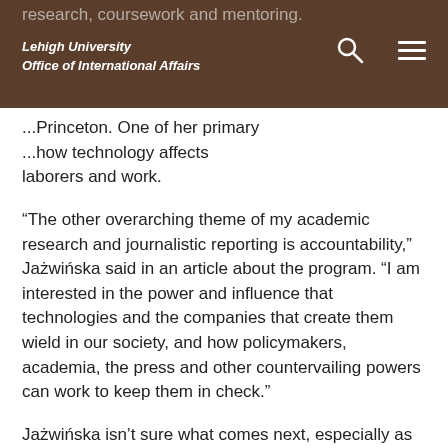Lehigh University Office of International Affairs
research, coursework and mentoring. ...Princeton. One of her primary ...how technology affects laborers and work.
“The other overarching theme of my academic research and journalistic reporting is accountability,” JaŻwińska said in an article about the program. “I am interested in the power and influence that technologies and the companies that create them wield in our society, and how policymakers, academia, the press and other countervailing powers can work to keep them in check.”
JaŻwińska isn’t sure what comes next, especially as the fields of both journalism and technology are changing so rapidly. But she expects to continue using her storytelling skills and asking big questions.
“What impact is technology having on our society?” she says. “How do we ensure that it’s